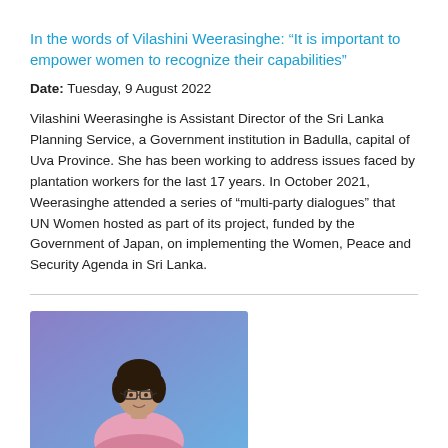In the words of Vilashini Weerasinghe: “It is important to empower women to recognize their capabilities”
Date: Tuesday, 9 August 2022
Vilashini Weerasinghe is Assistant Director of the Sri Lanka Planning Service, a Government institution in Badulla, capital of Uva Province. She has been working to address issues faced by plantation workers for the last 17 years. In October 2021, Weerasinghe attended a series of “multi-party dialogues” that UN Women hosted as part of its project, funded by the Government of Japan, on implementing the Women, Peace and Security Agenda in Sri Lanka.
[Figure (photo): Portrait photo of Chandrawathi Dissanayaka, a woman wearing glasses and a pink sari, against a purple/blue background]
In the words of Chandrawathi Dissanayaka: Female decision-makers “are often bullied into resigning”